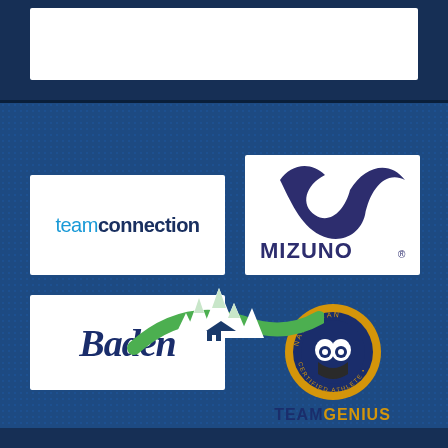[Figure (logo): Top white rectangle area (header)]
[Figure (logo): teamconnection logo — blue and dark blue text on white background]
[Figure (logo): Mizuno logo — dark blue swoosh/wave mark with MIZUNO wordmark on white background]
[Figure (logo): Baden logo — dark blue italic script wordmark on white background]
[Figure (logo): TeamGenius logo — circular badge with owl icon and TEAMGENIUS wordmark in navy and gold]
[Figure (logo): AMC logo — mountain and road graphic with green swoosh and white mountain peaks]